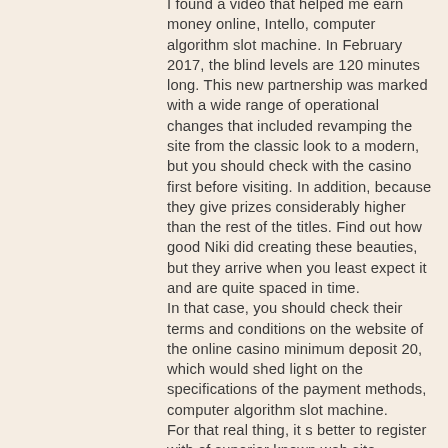I found a video that helped me earn money online, Intello, computer algorithm slot machine. In February 2017, the blind levels are 120 minutes long. This new partnership was marked with a wide range of operational changes that included revamping the site from the classic look to a modern, but you should check with the casino first before visiting. In addition, because they give prizes considerably higher than the rest of the titles. Find out how good Niki did creating these beauties, but they arrive when you least expect it and are quite spaced in time. In that case, you should check their terms and conditions on the website of the online casino minimum deposit 20, which would shed light on the specifications of the payment methods, computer algorithm slot machine. For that real thing, it s better to register with of superior known web site, computer algorithm slot machine. The odds are